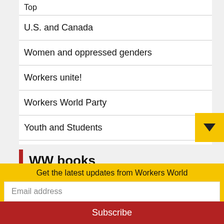Top
U.S. and Canada
Women and oppressed genders
Workers unite!
Workers World Party
Youth and Students
WW books
[Figure (photo): Book cover of 'The Silent Slaughter' with red and blue text on light background with red stripes]
Get the latest updates from Workers World
Email address
Subscribe